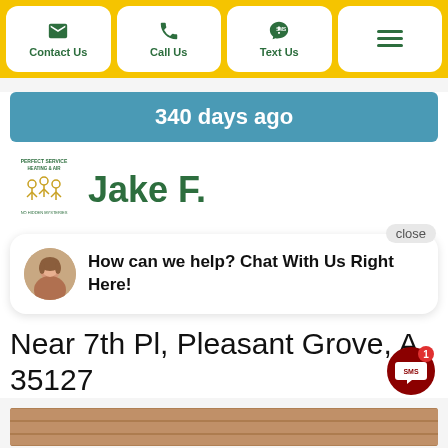Contact Us | Call Us | Text Us | Menu
340 days ago
[Figure (logo): Perfect Service Heating & Air company logo with branch figures]
Jake F.
close
How can we help? Chat With Us Right Here!
Near 7th Pl, Pleasant Grove, A… 35127
[Figure (photo): Brick building exterior photo strip]